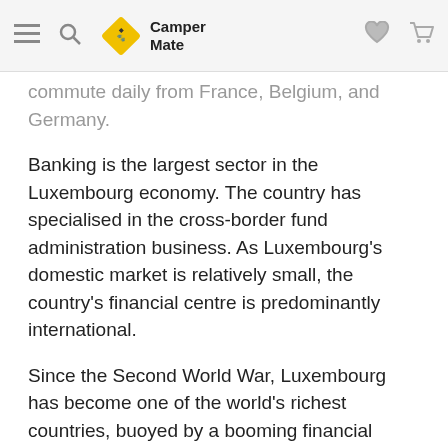CamperMate
commute daily from France, Belgium, and Germany.
Banking is the largest sector in the Luxembourg economy. The country has specialised in the cross-border fund administration business. As Luxembourg's domestic market is relatively small, the country's financial centre is predominantly international.
Since the Second World War, Luxembourg has become one of the world's richest countries, buoyed by a booming financial services sector, political stability, and European integration.
[Figure (photo): Historic building in Luxembourg with ornate facade and spires]
Although the recorded history of Luxembourg can be traced back to before Roman times, the history of Luxembourg proper is considered to begin in 963.